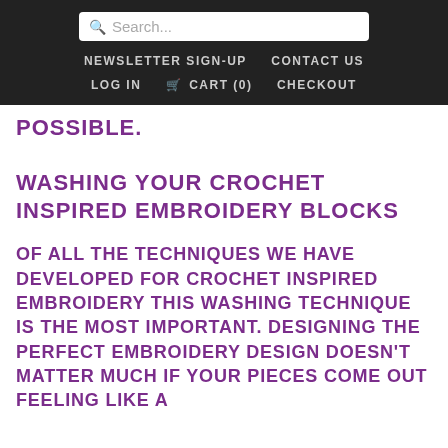Search... | NEWSLETTER SIGN-UP | CONTACT US | LOG IN | CART (0) | CHECKOUT
POSSIBLE.
WASHING YOUR CROCHET INSPIRED EMBROIDERY BLOCKS
OF ALL THE TECHNIQUES WE HAVE DEVELOPED FOR CROCHET INSPIRED EMBROIDERY THIS WASHING TECHNIQUE IS THE MOST IMPORTANT. DESIGNING THE PERFECT EMBROIDERY DESIGN DOESN'T MATTER MUCH IF YOUR PIECES COME OUT FEELING LIKE A